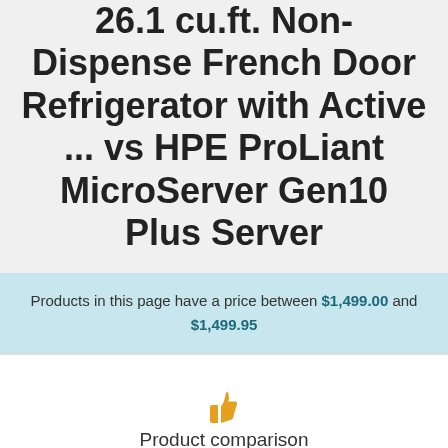26.1 cu.ft. Non-Dispense French Door Refrigerator with Active ... vs HPE ProLiant MicroServer Gen10 Plus Server
Products in this page have a price between $1,499.00 and $1,499.95
[Figure (illustration): Thumbs up icon in orange/gold color]
Product comparison
3 products added